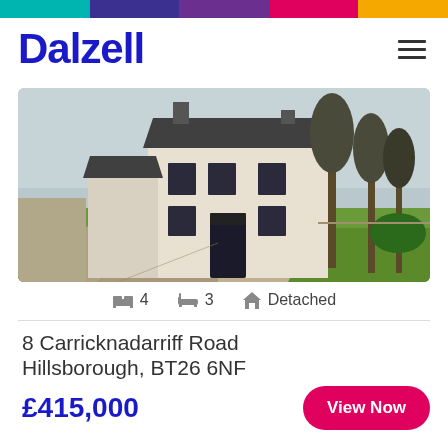Dalzell
[Figure (photo): Exterior photo of a detached two-storey white-rendered farmhouse with dark slate roof, black window frames, gravel driveway and large green lawn, bare trees in background under overcast sky.]
4 bedrooms   3 bathrooms   Detached
8 Carricknadarriff Road
Hillsborough, BT26 6NF
£415,000
View Now